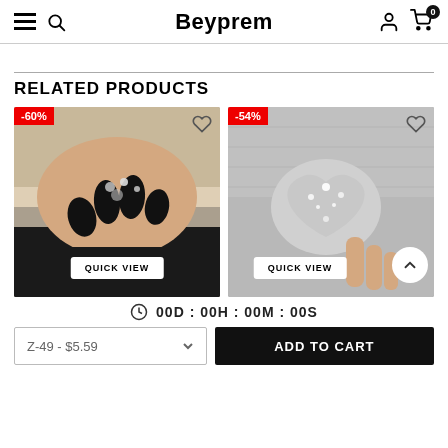Beyprem — navigation header with hamburger menu, search, brand name, user icon, and cart (0)
RELATED PRODUCTS
[Figure (photo): Product photo 1: close-up of decorated black and glitter nails with fur background, -60% discount badge, heart icon, QUICK VIEW button]
[Figure (photo): Product photo 2: silver glitter heart-shaped clutch bag against grey fabric, -54% discount badge, heart icon, QUICK VIEW button, back-to-top arrow]
00D : 00H : 00M : 00S
Z-49 - $5.59
ADD TO CART